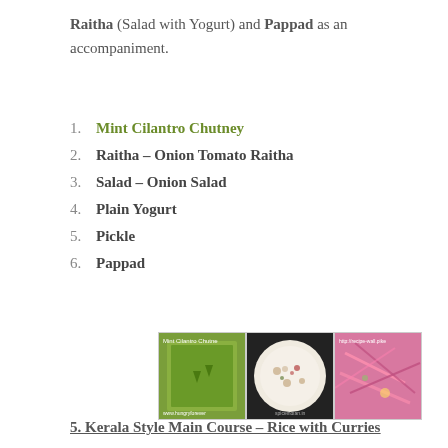Raitha (Salad with Yogurt) and Pappad as an accompaniment.
1. Mint Cilantro Chutney
2. Raitha – Onion Tomato Raitha
3. Salad – Onion Salad
4. Plain Yogurt
5. Pickle
6. Pappad
[Figure (photo): Three food photos: Mint Cilantro Chutney (green sauce), Onion Tomato Raitha (yogurt bowl), and Onion Salad (pink pickled onions)]
5. Kerala Style Main Course – Rice with Curries